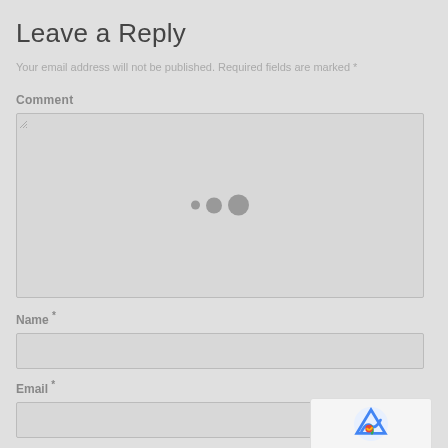Leave a Reply
Your email address will not be published. Required fields are marked *
Comment
[Figure (screenshot): Comment textarea input box with loading spinner dots (three circles of increasing size) in the center]
Name *
[Figure (screenshot): Name text input field (empty)]
Email *
[Figure (screenshot): Email text input field (empty) with reCAPTCHA badge overlay in bottom right showing logo and Privacy - Terms links]